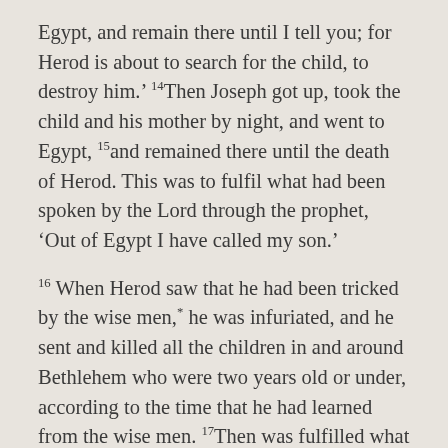Egypt, and remain there until I tell you; for Herod is about to search for the child, to destroy him.' 14Then Joseph got up, took the child and his mother by night, and went to Egypt, 15and remained there until the death of Herod. This was to fulfil what had been spoken by the Lord through the prophet, 'Out of Egypt I have called my son.'
16 When Herod saw that he had been tricked by the wise men,* he was infuriated, and he sent and killed all the children in and around Bethlehem who were two years old or under, according to the time that he had learned from the wise men. 17Then was fulfilled what had been spoken through the prophet Jeremiah: